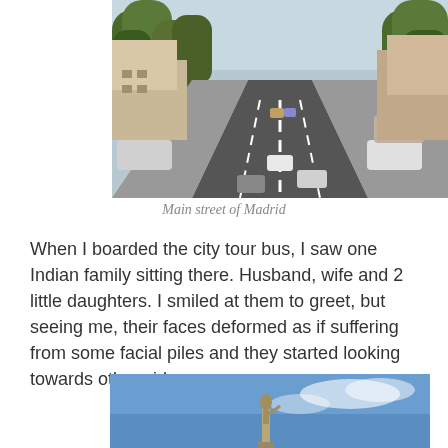[Figure (photo): A wide city street in Madrid with multiple lanes of traffic, lined with tall trees on both sides, photographed from an elevated perspective looking down the street.]
Main street of Madrid
When I boarded the city tour bus, I saw one Indian family sitting there. Husband, wife and 2 little daughters. I smiled at them to greet, but seeing me, their faces deformed as if suffering from some facial piles and they started looking towards other side.
[Figure (photo): A statue or monument photographed from below against a bright blue sky with light clouds.]